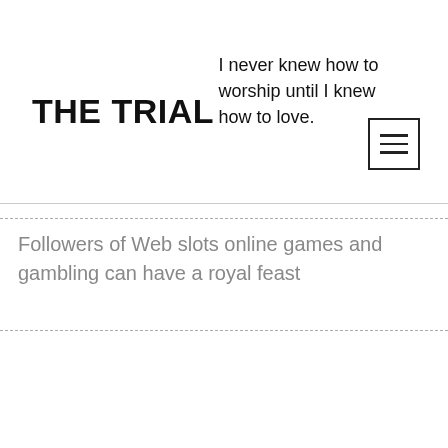THE TRIAL
I never knew how to worship until I knew how to love.
Followers of Web slots online games and gambling can have a royal feast